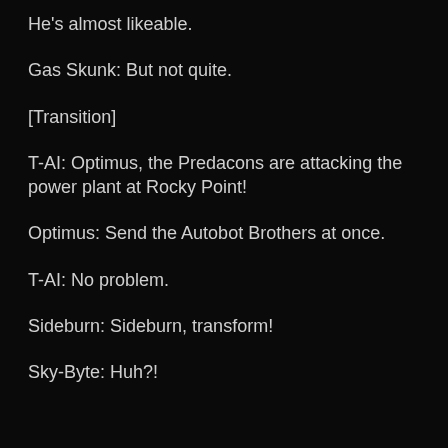He's almost likeable.
Gas Skunk: But not quite.
[Transition]
T-AI: Optimus, the Predacons are attacking the power plant at Rocky Point!
Optimus: Send the Autobot Brothers at once.
T-AI: No problem.
Sideburn: Sideburn, transform!
Sky-Byte: Huh?!